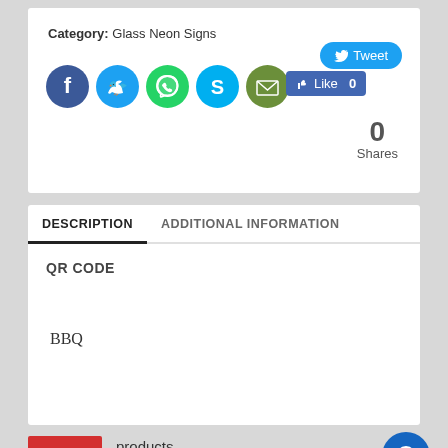Category: Glass Neon Signs
[Figure (infographic): Social sharing icons row: Facebook (dark blue), Twitter (light blue), WhatsApp (green), Skype (light blue), Email (olive green), Facebook Like button showing 0 likes, Tweet button, and Shares count showing 0 Shares]
DESCRIPTION
ADDITIONAL INFORMATION
QR CODE
BBQ
products